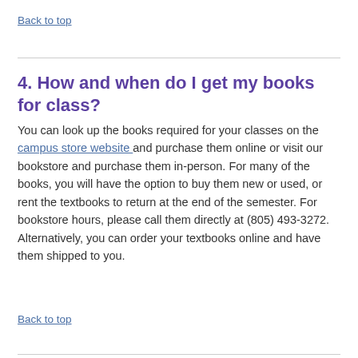Back to top
4. How and when do I get my books for class?
You can look up the books required for your classes on the campus store website and purchase them online or visit our bookstore and purchase them in-person. For many of the books, you will have the option to buy them new or used, or rent the textbooks to return at the end of the semester. For bookstore hours, please call them directly at (805) 493-3272. Alternatively, you can order your textbooks online and have them shipped to you.
Back to top